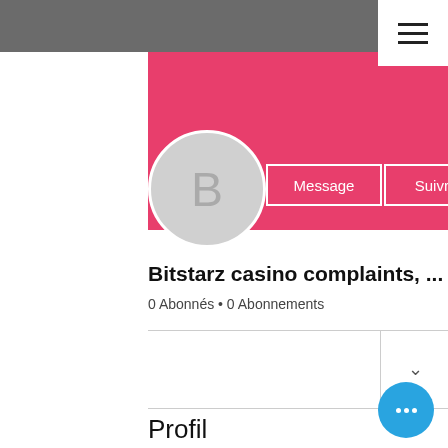[Figure (screenshot): Hamburger menu icon (three horizontal lines) in white box on grey header]
[Figure (illustration): Pink/magenta profile banner with Message and Suivre buttons, and a grey circle avatar with letter B]
Bitstarz casino complaints, ...
0 Abonnés • 0 Abonnements
Profil
A rejoint le : 23 juin 2022